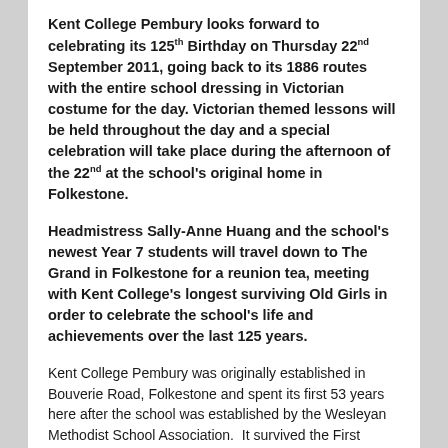Kent College Pembury looks forward to celebrating its 125th Birthday on Thursday 22nd September 2011, going back to its 1886 routes with the entire school dressing in Victorian costume for the day. Victorian themed lessons will be held throughout the day and a special celebration will take place during the afternoon of the 22nd at the school's original home in Folkestone.
Headmistress Sally-Anne Huang and the school's newest Year 7 students will travel down to The Grand in Folkestone for a reunion tea, meeting with Kent College's longest surviving Old Girls in order to celebrate the school's life and achievements over the last 125 years.
Kent College Pembury was originally established in Bouverie Road, Folkestone and spent its first 53 years here after the school was established by the Wesleyan Methodist School Association.  It survived the First World War by the coast and heroically remained one of a handful